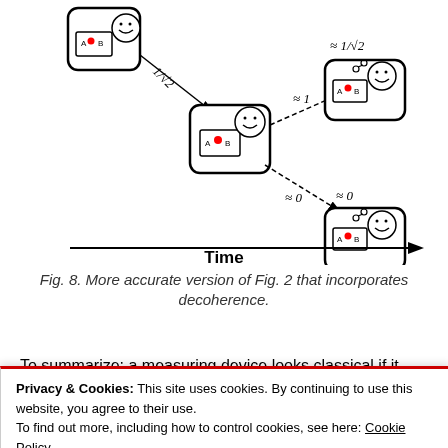[Figure (schematic): Quantum decoherence diagram showing a measuring device at left splitting via 1/sqrt(2) amplitude arrows to a center device, which then splits with approximately 1 amplitude to top-right device and approximately 0 to bottom-right device. Each device shows a box with 'A B' labels and a red dot, plus a smiley face observer. Top right branch labeled approx 1/sqrt(2), bottom right labeled approx 0. A horizontal time arrow runs along the bottom of the diagram.]
Time
Fig. 8. More accurate version of Fig. 2 that incorporates decoherence.
To summarize: a measuring device looks classical if it
Privacy & Cookies: This site uses cookies. By continuing to use this website, you agree to their use.
To find out more, including how to control cookies, see here: Cookie Policy
Close and accept